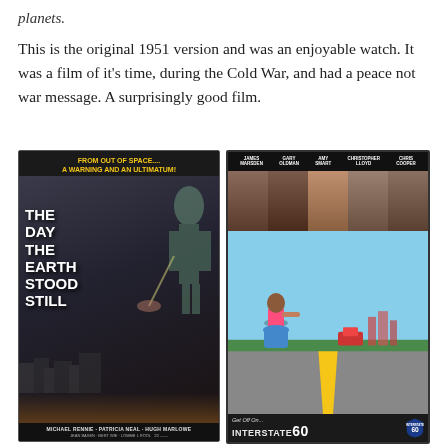planets.
This is the original 1951 version and was an enjoyable watch. It was a film of it's time, during the Cold War, and had a peace not war message. A surprisingly good film.
[Figure (photo): Left: Movie poster for 'The Day The Earth Stood Still' featuring text 'FROM OUT OF SPACE.... A WARNING AND AN ULTIMATUM!' with large title text and credits 'MICHAEL RENNIE · PATRICIA NEAL · HUGH MARLOWE'. Right: DVD cover for 'Interstate 60' with cast names James Marsden, Gary Oldman, Amy Smart, Christopher Lloyd, Chris Cooper, text 'from the creator of Back To The Future', 'Get Off On... INTERSTATE 60'.]